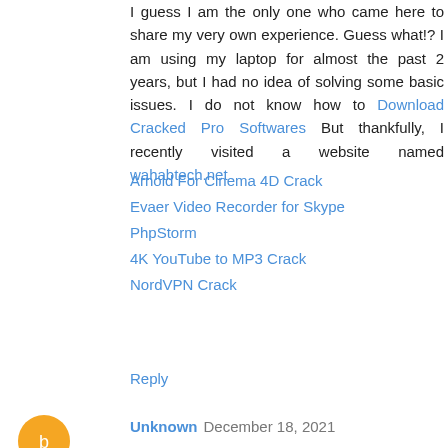I guess I am the only one who came here to share my very own experience. Guess what!? I am using my laptop for almost the past 2 years, but I had no idea of solving some basic issues. I do not know how to Download Cracked Pro Softwares But thankfully, I recently visited a website named wahabtech.net
Arnold For Cinema 4D Crack
Evaer Video Recorder for Skype
PhpStorm
4K YouTube to MP3 Crack
NordVPN Crack
Reply
Unknown  December 18, 2021
Thank you so much for sharing this wonderful information with us. It seems like you have done a lot of hard work to collect such great information.
https://softwindowz.com/
Removewat Crack
Nero Platinum crack
Avira Antivirus Pro crack